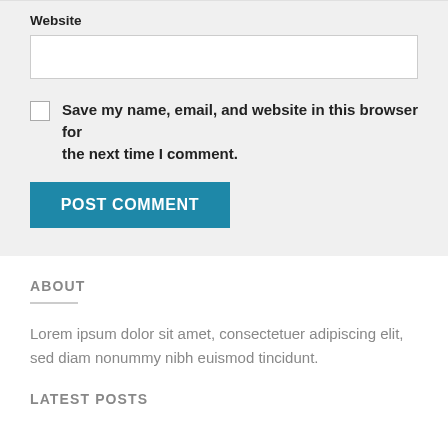Website
Save my name, email, and website in this browser for the next time I comment.
POST COMMENT
ABOUT
Lorem ipsum dolor sit amet, consectetuer adipiscing elit, sed diam nonummy nibh euismod tincidunt.
LATEST POSTS